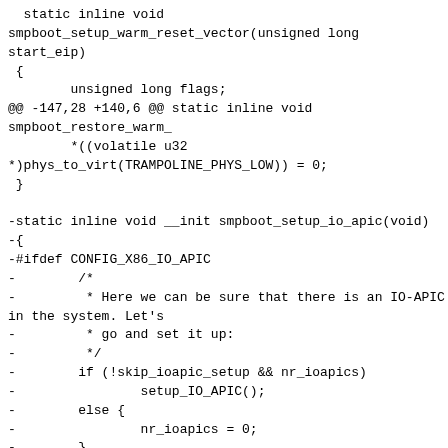static inline void
smpboot_setup_warm_reset_vector(unsigned long
start_eip)
 {
         unsigned long flags;
@@ -147,28 +140,6 @@ static inline void
smpboot_restore_warm_
         *((volatile u32
*)phys_to_virt(TRAMPOLINE_PHYS_LOW)) = 0;
 }

-static inline void __init smpboot_setup_io_apic(void)
-{
-#ifdef CONFIG_X86_IO_APIC
-         /*
-         * Here we can be sure that there is an IO-APIC
in the system. Let's
-         * go and set it up:
-         */
-         if (!skip_ioapic_setup && nr_ioapics)
-                 setup_IO_APIC();
-         else {
-                 nr_ioapics = 0;
-         }
-#endif
-}
-
-static inline void smpboot_clear_io_apic(void)
-{
-#ifdef CONFIG_X86_IO_APIC